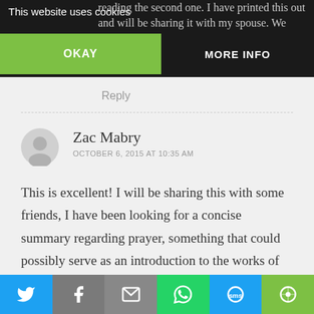This website uses cookies
reading the second one. I have printed this out and will be sharing it with my spouse. We … to deepen … er life.
OKAY
MORE INFO
Reply
Zac Mabry
OCTOBER 6, 2015 AT 10:35 AM
This is excellent! I will be sharing this with some friends, I have been looking for a concise summary regarding prayer, something that could possibly serve as an introduction to the works of Fr. Garrigou-